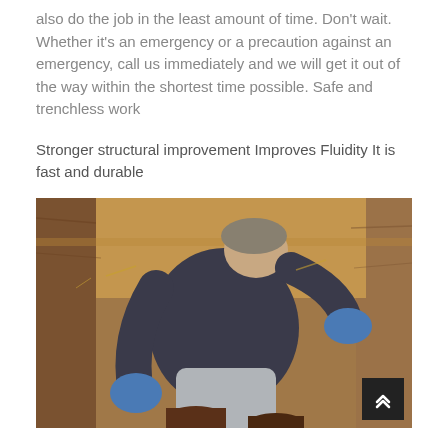also do the job in the least amount of time. Don't wait. Whether it's an emergency or a precaution against an emergency, call us immediately and we will get it out of the way within the shortest time possible. Safe and trenchless work
Stronger structural improvement Improves Fluidity It is fast and durable
[Figure (photo): A worker in a dark hoodie and blue gloves crouching inside a dug trench in brown soil, working on underground pipes]